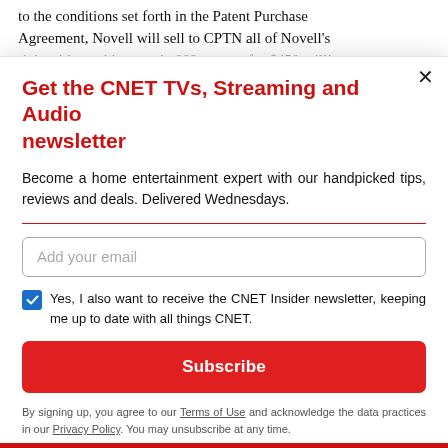to the conditions set forth in the Patent Purchase Agreement, Novell will sell to CPTN all of Novell's right, title, and interest in 882 patents for $450 milli...
Get the CNET TVs, Streaming and Audio newsletter
Become a home entertainment expert with our handpicked tips, reviews and deals. Delivered Wednesdays.
Add your email
Yes, I also want to receive the CNET Insider newsletter, keeping me up to date with all things CNET.
Subscribe
By signing up, you agree to our Terms of Use and acknowledge the data practices in our Privacy Policy. You may unsubscribe at any time.